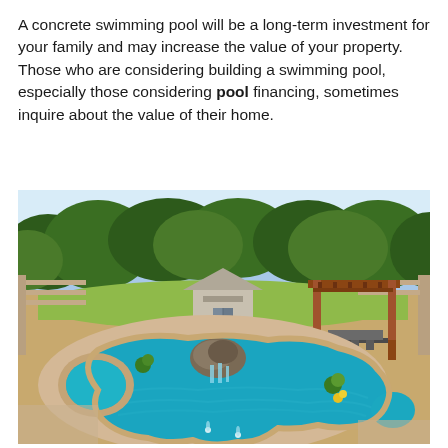A concrete swimming pool will be a long-term investment for your family and may increase the value of your property. Those who are considering building a swimming pool, especially those considering pool financing, sometimes inquire about the value of their home.
[Figure (photo): Aerial view of a freeform concrete swimming pool with spa, rock waterfall feature, pergola with patio furniture, storage shed, and lush green trees in the background. The pool has turquoise water with a decorative fountain and is surrounded by tan stone coping and patio pavers.]